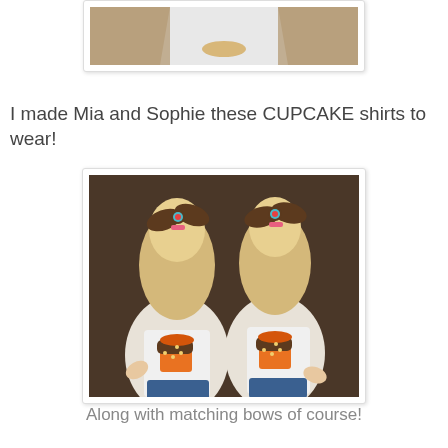[Figure (photo): Partial photo at top of page showing bottom portion of cupcake shirt on a white shirt, cropped view]
I made Mia and Sophie these CUPCAKE shirts to wear!
[Figure (photo): Two young blonde girls sitting side by side, viewed from behind/side, wearing matching white tank tops with cupcake appliques and matching brown and pink hair bows]
Along with matching bows of course!